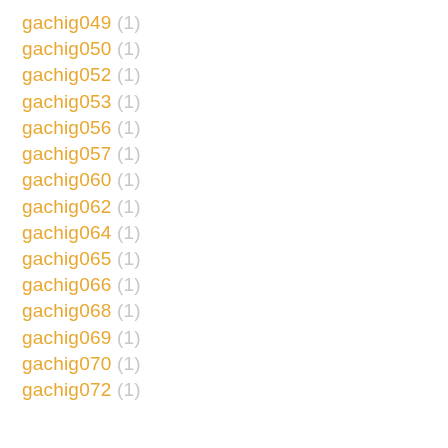gachig049 (1)
gachig050 (1)
gachig052 (1)
gachig053 (1)
gachig056 (1)
gachig057 (1)
gachig060 (1)
gachig062 (1)
gachig064 (1)
gachig065 (1)
gachig066 (1)
gachig068 (1)
gachig069 (1)
gachig070 (1)
gachig072 (1)